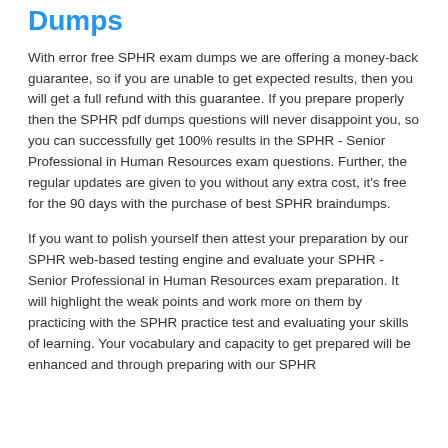Dumps
With error free SPHR exam dumps we are offering a money-back guarantee, so if you are unable to get expected results, then you will get a full refund with this guarantee. If you prepare properly then the SPHR pdf dumps questions will never disappoint you, so you can successfully get 100% results in the SPHR - Senior Professional in Human Resources exam questions. Further, the regular updates are given to you without any extra cost, it’s free for the 90 days with the purchase of best SPHR braindumps.
If you want to polish yourself then attest your preparation by our SPHR web-based testing engine and evaluate your SPHR - Senior Professional in Human Resources exam preparation. It will highlight the weak points and work more on them by practicing with the SPHR practice test and evaluating your skills of learning. Your vocabulary and capacity to get prepared will be enhanced and through preparing with our SPHR